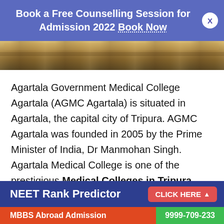Book a Free Counselling Session for Admission 2022 Book Now
[Figure (photo): Photograph of a building exterior, appears to be a government/institutional structure, partial view]
Agartala Government Medical College Agartala (AGMC Agartala) is situated in Agartala, the capital city of Tripura. AGMC Agartala was founded in 2005 by the Prime Minister of India, Dr Manmohan Singh. Agartala Medical College is one of the prestigious Medical Colleges in Tripura.
NEET Rank Predictor   CLICK HERE
MBBS Abroad Admission   9999-709-233